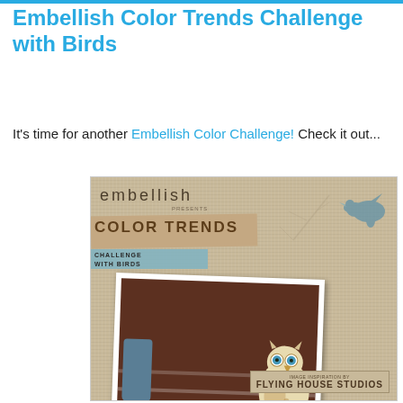Embellish Color Trends Challenge with Birds
It's time for another Embellish Color Challenge! Check it out...
[Figure (illustration): Embellish Color Trends Challenge with Birds promotional card. Features the word 'embellish presents' in the top left, a tan diagonal banner reading 'COLOR TRENDS', a blue banner reading 'CHALLENGE WITH BIRDS', a blue bird silhouette in the top right with branch drawings, a polaroid-style photo inset showing an owl figurine next to a blue ceramic cup on dark wooden shelves, and a 'Flying House Studios' image inspiration label in the bottom right corner.]